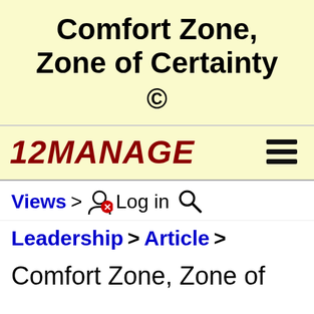Comfort Zone, Zone of Certainty ©
[Figure (logo): 12MANAGE logo with hamburger menu icon on yellow background]
Views > [user icon] Log in [search icon]
Leadership > Article >
Comfort Zone, Zone of